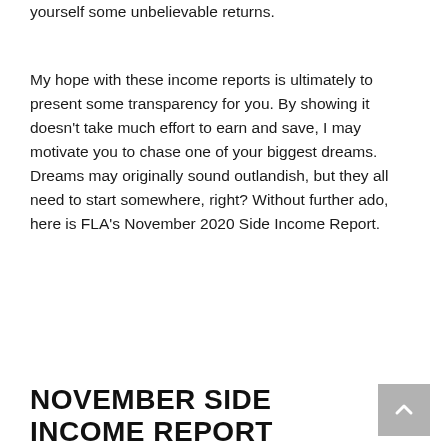yourself some unbelievable returns.
My hope with these income reports is ultimately to present some transparency for you. By showing it doesn't take much effort to earn and save, I may motivate you to chase one of your biggest dreams. Dreams may originally sound outlandish, but they all need to start somewhere, right? Without further ado, here is FLA's November 2020 Side Income Report.
NOVEMBER SIDE INCOME REPORT